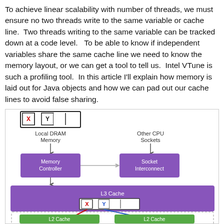To achieve linear scalability with number of threads, we must ensure no two threads write to the same variable or cache line.  Two threads writing to the same variable can be tracked down at a code level.   To be able to know if independent variables share the same cache line we need to know the memory layout, or we can get a tool to tell us.  Intel VTune is such a profiling tool.  In this article I'll explain how memory is laid out for Java objects and how we can pad out our cache lines to avoid false sharing.
[Figure (engineering-diagram): CPU cache hierarchy diagram showing Local DRAM Memory and Other CPU Sockets at top, connected to Memory Controller and Socket Interconnect boxes, feeding into L3 Cache bar (purple), which contains a cache line block with X and Y variables highlighted, with colored arrows going down to two L2 Cache blocks (green) at the bottom.]